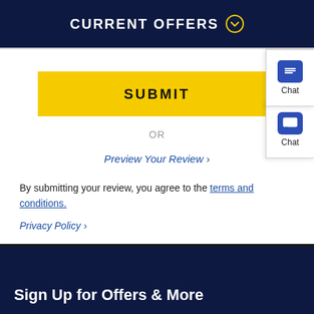CURRENT OFFERS
SUBMIT
OR
Preview Your Review >
By submitting your review, you agree to the terms and conditions.
Privacy Policy >
Sign Up for Offers & More